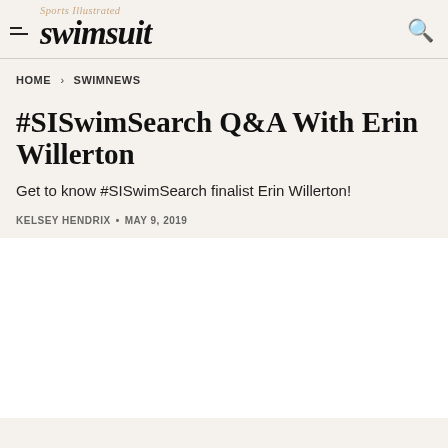Sports Illustrated swimsuit
HOME > SWIMNEWS
#SISwimSearch Q&A With Erin Willerton
Get to know #SISwimSearch finalist Erin Willerton!
KELSEY HENDRIX • MAY 9, 2019